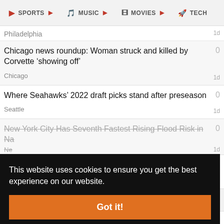SPORTS | MUSIC | MOVIES | TECH
Philadelphia
Chicago news roundup: Woman struck and killed by Corvette ‘showing off’
Chicago
Where Seahawks’ 2022 draft picks stand after preseason
Seattle
New York City Has Seventh Fastest Rising Flood Risk in Nation
New York
Could Monkeypox Become Endemic? Here’s What Experts Think...
Washington
This website uses cookies to ensure you get the best experience on our website.
Got it!
Boston City Council president suspends Arroyo’s committee